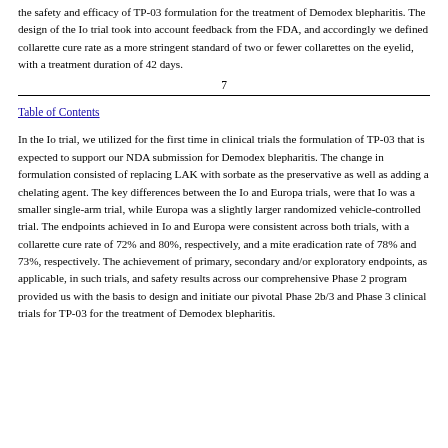the safety and efficacy of TP-03 formulation for the treatment of Demodex blepharitis. The design of the Io trial took into account feedback from the FDA, and accordingly we defined collarette cure rate as a more stringent standard of two or fewer collarettes on the eyelid, with a treatment duration of 42 days.
7
Table of Contents
In the Io trial, we utilized for the first time in clinical trials the formulation of TP-03 that is expected to support our NDA submission for Demodex blepharitis. The change in formulation consisted of replacing LAK with sorbate as the preservative as well as adding a chelating agent. The key differences between the Io and Europa trials, were that Io was a smaller single-arm trial, while Europa was a slightly larger randomized vehicle-controlled trial. The endpoints achieved in Io and Europa were consistent across both trials, with a collarette cure rate of 72% and 80%, respectively, and a mite eradication rate of 78% and 73%, respectively. The achievement of primary, secondary and/or exploratory endpoints, as applicable, in such trials, and safety results across our comprehensive Phase 2 program provided us with the basis to design and initiate our pivotal Phase 2b/3 and Phase 3 clinical trials for TP-03 for the treatment of Demodex blepharitis.